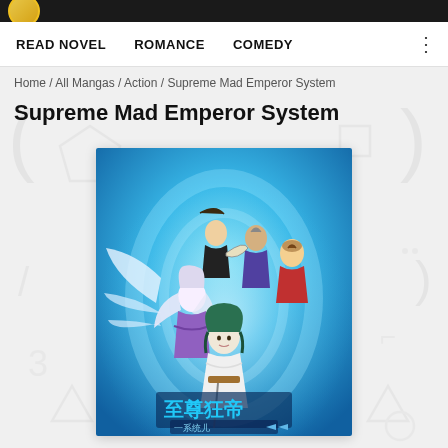READ NOVEL   ROMANCE   COMEDY
Home / All Mangas / Action / Supreme Mad Emperor System
Supreme Mad Emperor System
[Figure (illustration): Manga cover art for Supreme Mad Emperor System showing several anime-style characters: a young man with dark hair in white robes at the front center, a white-haired female figure to his left, and three characters (young man with fan, elderly man, young woman in red) in the background. Chinese characters at the bottom read 至尊狂帝 with a subtitle. Background is bright blue-teal energy effects.]